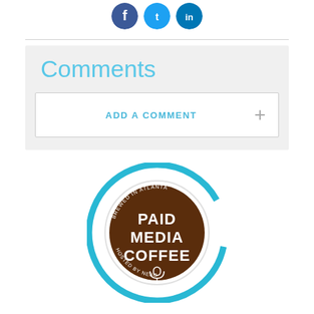[Figure (logo): Three social media icons (Facebook, Twitter, LinkedIn) as blue circles in a row]
Comments
ADD A COMMENT +
[Figure (logo): Paid Media Coffee podcast logo: circular badge with blue outer ring, white inner ring, brown coffee cup background with text BREWED IN ATLANTA, PAID MEDIA COFFEE, microphone icon, HOSTED BY NEBO]